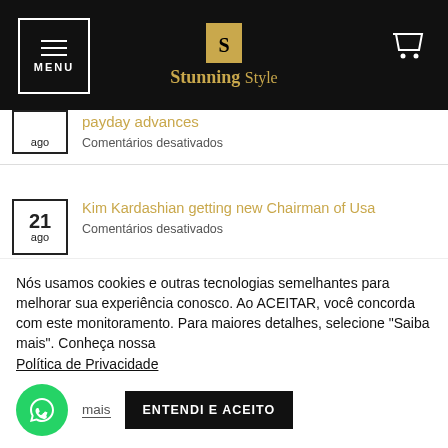MENU | Stunning Style
ago | payday advances | Comentários desativados
21 ago | Kim Kardashian getting new Chairman of Usa | Comentários desativados
21 ago | The advantages of delivering an effective Eugene, Oregon payday loan from the MayBeLoan | Comentários desativados
Nós usamos cookies e outras tecnologias semelhantes para melhorar sua experiência conosco. Ao ACEITAR, você concorda com este monitoramento. Para maiores detalhes, selecione "Saiba mais". Conheça nossa Política de Privacidade
Saiba mais | ENTENDI E ACEITO